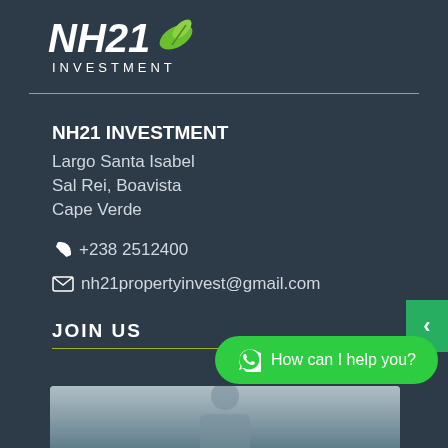[Figure (logo): NH21 Investment logo with white bold italic text 'NH21' and green leaf graphic, 'INVESTMENT' in spaced caps below]
NH21 INVESTMENT
Largo Santa Isabel
Sal Rei, Boavista
Cape Verde
📞 +238 2512400
✉ nh21propertyinvest@gmail.com
JOIN US
[Figure (photo): Partial photo of a person at the bottom of the page]
[Figure (other): Green 'How can I help you?' WhatsApp chat button at bottom right]
[Figure (other): Green left-arrow navigation button on right edge]